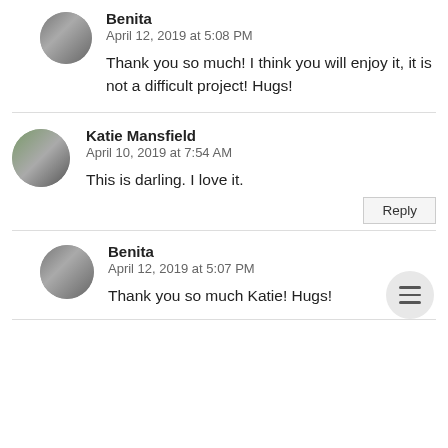[Figure (photo): Circular avatar photo of Benita (grayscale camera/person image)]
Benita
April 12, 2019 at 5:08 PM
Thank you so much! I think you will enjoy it, it is not a difficult project! Hugs!
[Figure (photo): Circular avatar photo of Katie Mansfield (color photo of woman)]
Katie Mansfield
April 10, 2019 at 7:54 AM
This is darling. I love it.
[Figure (photo): Circular avatar photo of Benita (grayscale camera/person image)]
Benita
April 12, 2019 at 5:07 PM
Thank you so much Katie! Hugs!